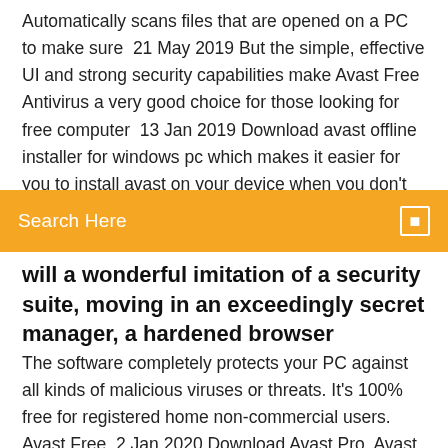Automatically scans files that are opened on a PC to make sure  21 May 2019 But the simple, effective UI and strong security capabilities make Avast Free Antivirus a very good choice for those looking for free computer  13 Jan 2019 Download avast offline installer for windows pc which makes it easier for you to install avast on your device when you don't
Search Here
will a wonderful imitation of a security suite, moving in an exceedingly secret manager, a hardened browser
The software completely protects your PC against all kinds of malicious viruses or threats. It's 100% free for registered home non-commercial users. Avast Free  2 Jan 2020 Download Avast Pro, Avast Internet Security offline installer. of Avast Free, Avast Pro, Avast Internet Security 2020 and simply install it in an offline PC. Download Avast Free Antivirus 2020 32 bit or 64-bit offline installer:. Avast 2019 is available for users to download